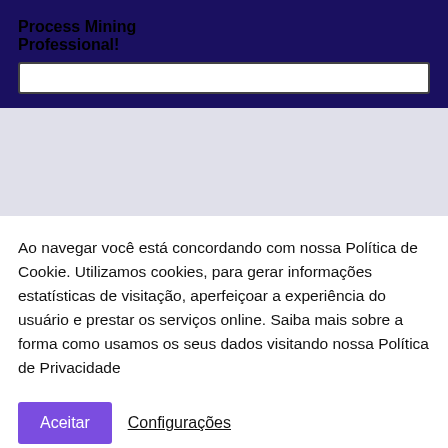Process Mining Professional!
Ao navegar você está concordando com nossa Política de Cookie. Utilizamos cookies, para gerar informações estatísticas de visitação, aperfeiçoar a experiência do usuário e prestar os serviços online. Saiba mais sobre a forma como usamos os seus dados visitando nossa Política de Privacidade
Aceitar
Configurações